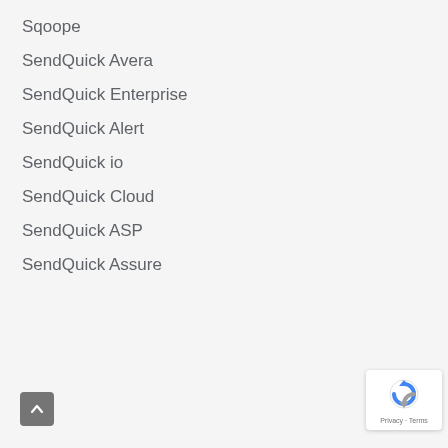Sqoope
SendQuick Avera
SendQuick Enterprise
SendQuick Alert
SendQuick io
SendQuick Cloud
SendQuick ASP
SendQuick Assure
[Figure (other): Scroll to top button — grey rounded square with upward chevron arrow]
[Figure (other): Google reCAPTCHA badge — white rounded rectangle with reCAPTCHA logo and Privacy/Terms text]